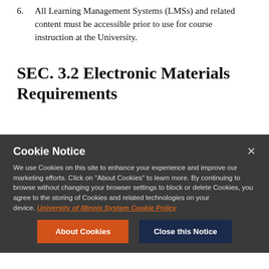6. All Learning Management Systems (LMSs) and related content must be accessible prior to use for course instruction at the University.
SEC. 3.2 Electronic Materials Requirements
Cookie Notice
We use Cookies on this site to enhance your experience and improve our marketing efforts. Click on "About Cookies" to learn more. By continuing to browse without changing your browser settings to block or delete Cookies, you agree to the storing of Cookies and related technologies on your device. University of Illinois System Cookie Policy
About Cookies
Close this Notice